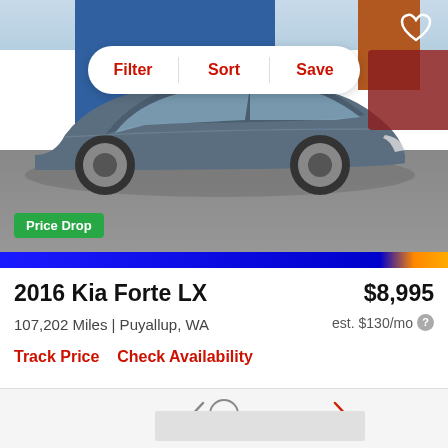[Figure (photo): Side view of a gray 2016 Kia Forte LX sedan in a dealer lot with blue building in background. A 'Price Drop' green badge overlays the bottom-left of the image. Filter, Sort, Save buttons appear at the top. A heart icon appears top-right.]
2016 Kia Forte LX
$8,995
107,202 Miles | Puyallup, WA
est. $130/mo
Track Price    Check Availability
[Figure (photo): Partial view of another car listing below, with navigation arrows visible]